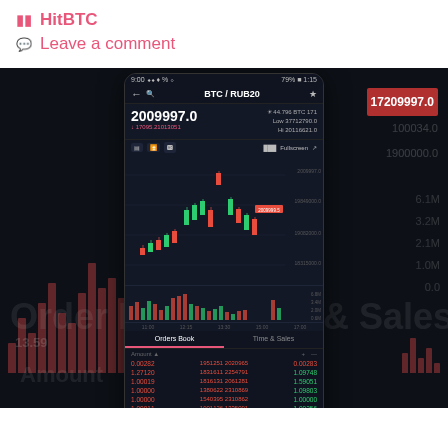HitBTC
Leave a comment
[Figure (screenshot): Mobile screenshot of HitBTC cryptocurrency trading app showing BTC/RUB20 pair with candlestick chart, price 2009997.0, order book with buy/sell orders, and BUY/SELL buttons at bottom. Background shows a dark trading terminal with red bar charts and price levels.]